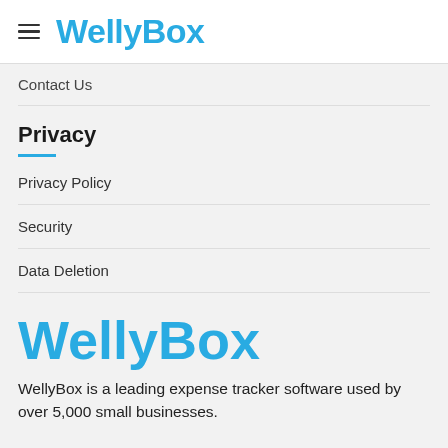WellyBox
Contact Us
Privacy
Privacy Policy
Security
Data Deletion
WellyBox
WellyBox is a leading expense tracker software used by over 5,000 small businesses.